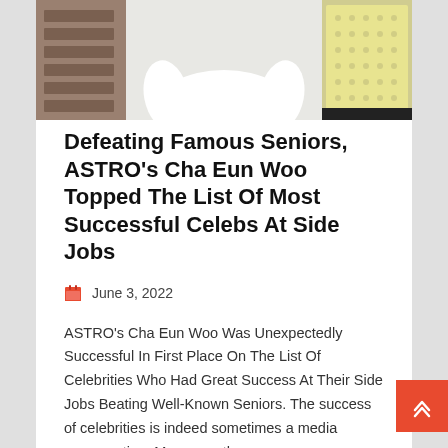[Figure (photo): Partial photo of a person wearing a white short-sleeve shirt, cropped at top of page]
Defeating Famous Seniors, ASTRO's Cha Eun Woo Topped The List Of Most Successful Celebs At Side Jobs
June 3, 2022
ASTRO's Cha Eun Woo Was Unexpectedly Successful In First Place On The List Of Celebrities Who Had Great Success At Their Side Jobs Beating Well-Known Seniors. The success of celebrities is indeed sometimes a media conversation. Moreover, the success